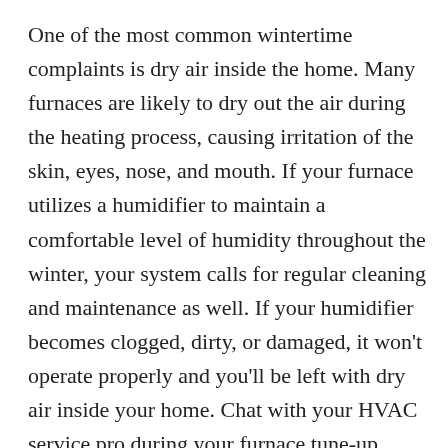One of the most common wintertime complaints is dry air inside the home. Many furnaces are likely to dry out the air during the heating process, causing irritation of the skin, eyes, nose, and mouth. If your furnace utilizes a humidifier to maintain a comfortable level of humidity throughout the winter, your system calls for regular cleaning and maintenance as well. If your humidifier becomes clogged, dirty, or damaged, it won't operate properly and you'll be left with dry air inside your home. Chat with your HVAC service pro during your furnace tune-up about checking and cleaning your humidifier as well. In many cases, your humidifier's water source may need to be turned on, as it may be turned off during the